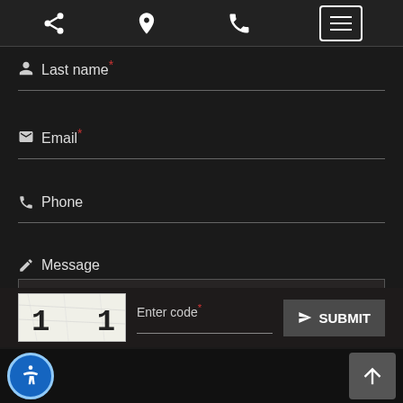Navigation bar with share, location, phone, and menu icons
Last name* (required field)
Email* (required field)
Phone
Message
Enter code* — SUBMIT
Accessibility button and scroll-to-top button